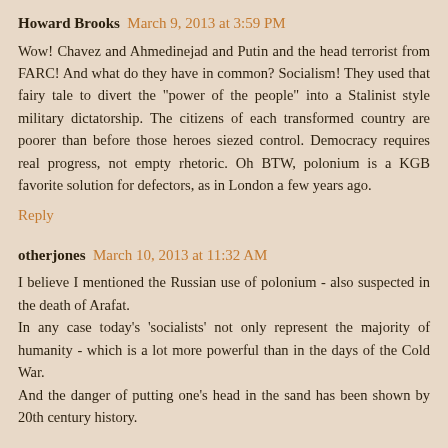Howard Brooks  March 9, 2013 at 3:59 PM
Wow! Chavez and Ahmedinejad and Putin and the head terrorist from FARC! And what do they have in common? Socialism! They used that fairy tale to divert the "power of the people" into a Stalinist style military dictatorship. The citizens of each transformed country are poorer than before those heroes siezed control. Democracy requires real progress, not empty rhetoric. Oh BTW, polonium is a KGB favorite solution for defectors, as in London a few years ago.
Reply
otherjones  March 10, 2013 at 11:32 AM
I believe I mentioned the Russian use of polonium - also suspected in the death of Arafat.
In any case today's 'socialists' not only represent the majority of humanity - which is a lot more powerful than in the days of the Cold War.
And the danger of putting one's head in the sand has been shown by 20th century history.